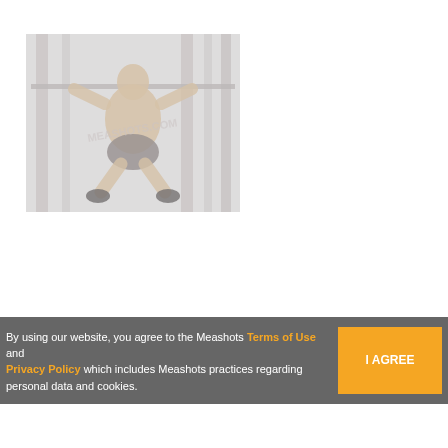[Figure (photo): A shirtless man performing a squat exercise on a barbell rack in a gym setting. The image is faded/washed out with a watermark overlay.]
By using our website, you agree to the Meashots Terms of Use and Privacy Policy which includes Meashots practices regarding personal data and cookies.